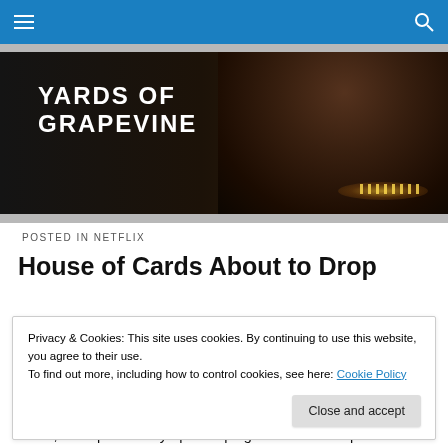Navigation bar with hamburger menu and search icon
[Figure (photo): Dark hero banner image showing 'YARDS OF GRAPEVINE' text in white uppercase letters on a dark background, with a person visible on the right side near candles]
POSTED IN NETFLIX
House of Cards About to Drop
Privacy & Cookies: This site uses cookies. By continuing to use this website, you agree to their use.
To find out more, including how to control cookies, see here: Cookie Policy
[Close and accept button]
Game, were particularly apt at roping the viewer deep